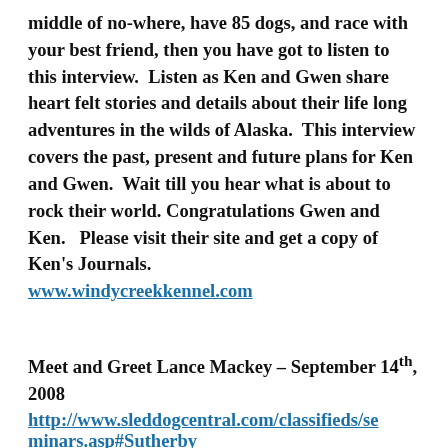middle of no-where, have 85 dogs, and race with your best friend, then you have got to listen to this interview.  Listen as Ken and Gwen share heart felt stories and details about their life long adventures in the wilds of Alaska.  This interview covers the past, present and future plans for Ken and Gwen.  Wait till you hear what is about to rock their world.  Congratulations Gwen and Ken.   Please visit their site and get a copy of Ken's Journals. www.windycreekkennel.com
Meet and Greet Lance Mackey – September 14th, 2008
http://www.sleddogcentral.com/classifieds/seminars.asp#Sutherby